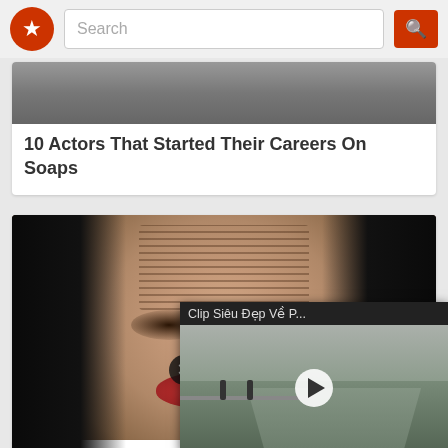Search
10 Actors That Started Their Careers On Soaps
[Figure (photo): Close-up photo of an Asian person squinting and scrunching their face with puckered lips]
11 Signs Your P... Out Of Control
[Figure (screenshot): Video popup overlay showing a street/road scene with title 'Clip Siêu Đẹp Về P...' and a play button]
Clip Siêu Đẹp Về P...